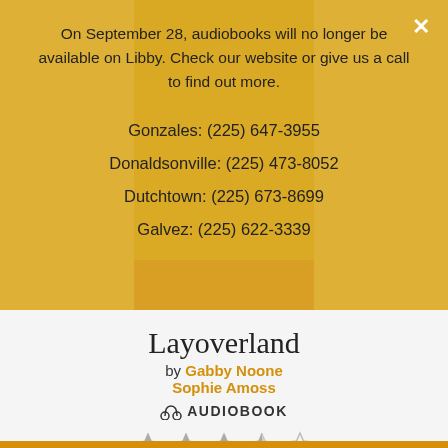[Figure (screenshot): Book cover for Layoverland partially visible behind yellow overlay, with red band at bottom]
On September 28, audiobooks will no longer be available on Libby. Check our website or give us a call to find out more.
Gonzales: (225) 647-3955
Donaldsonville: (225) 473-8052
Dutchtown: (225) 673-8699
Galvez: (225) 622-3339
Layoverland
by Gabby Noone
Sophie Amoss
🎧 AUDIOBOOK
[Figure (other): 3.5 out of 5 star rating shown with filled and empty star icons]